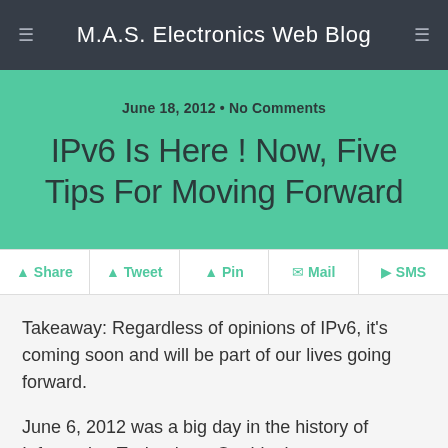M.A.S. Electronics Web Blog
June 18, 2012 • No Comments
IPv6 Is Here ! Now, Five Tips For Moving Forward
Share  Tweet  Pin  Mail  SMS
Takeaway: Regardless of opinions of IPv6, it's coming soon and will be part of our lives going forward.
June 6, 2012 was a big day in the history of Information Technology. On this day, approximately 1% of Internet traffic will leverage IPv6. We've all heard of the end of